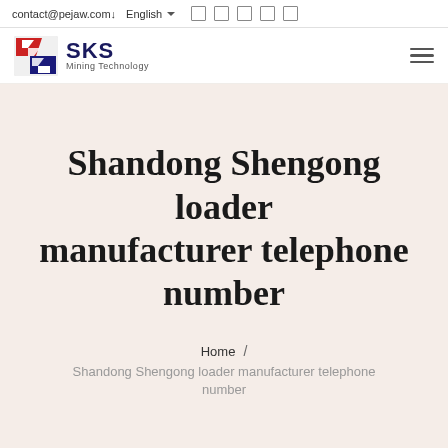contact@pejaw.com  English  ❏ ❏ ❏ ❏ ❏
[Figure (logo): SKS Mining Technology logo with red and blue angular S icon and company name]
Shandong Shengong loader manufacturer telephone number
Home / Shandong Shengong loader manufacturer telephone number